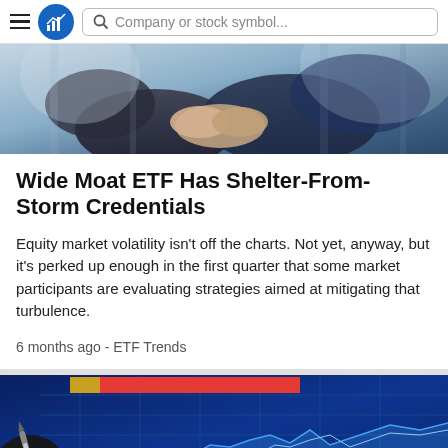Company or stock symbol...
[Figure (photo): Two businesspeople in suits shaking hands, blue-gray tones]
Wide Moat ETF Has Shelter-From-Storm Credentials
Equity market volatility isn't off the charts. Not yet, anyway, but it's perked up enough in the first quarter that some market participants are evaluating strategies aimed at mitigating that turbulence.
6 months ago - ETF Trends
[Figure (photo): A hand holding a pen pointing at a financial chart on a blue screen with red and yellow bar chart elements, financial data visualization]